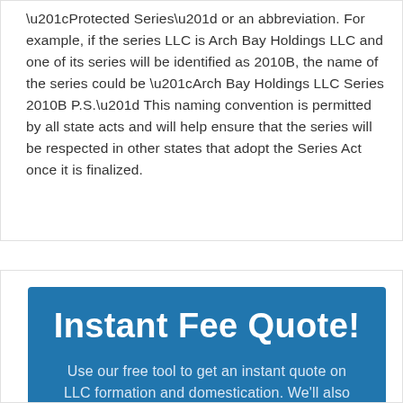“Protected Series” or an abbreviation. For example, if the series LLC is Arch Bay Holdings LLC and one of its series will be identified as 2010B, the name of the series could be “Arch Bay Holdings LLC Series 2010B P.S.” This naming convention is permitted by all state acts and will help ensure that the series will be respected in other states that adopt the Series Act once it is finalized.
Instant Fee Quote!
Use our free tool to get an instant quote on LLC formation and domestication. We’ll also